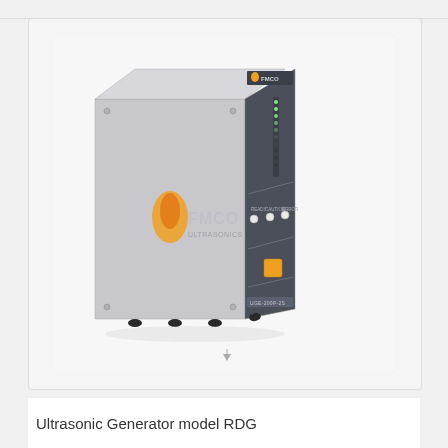[Figure (photo): Photo of an Ultrasonic Generator device model RDG, a rectangular metal box with grey casing, dark grey front panel with FMCO branding, vertical LED indicator strip, three small LED status lights labeled READY, CAUTION, ERROR, an orange square button, and black rubber feet. The FMCO logo in orange and grey appears on the side panel.]
Ultrasonic Generator model RDG